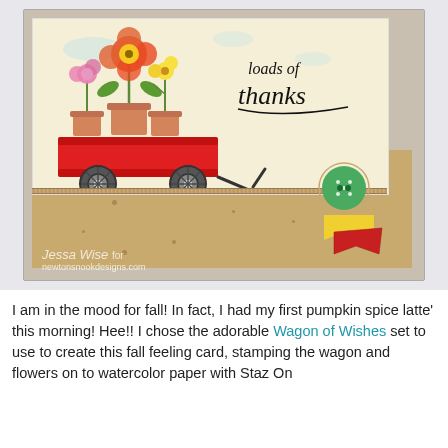[Figure (photo): A handmade greeting card with a red wagon carrying flower pots stamped on cream paper, with kraft paper panel below, twine, green button, and colorful banner flags. Watermark reads 'Jessa Wise for newtonsnookdesigns.com'.]
I am in the mood for fall!  In fact, I had my first pumpkin spice latte' this morning!  Hee!!  I chose the adorable Wagon of Wishes set to use to create this fall feeling card, stamping the wagon and flowers on to watercolor paper with Staz On